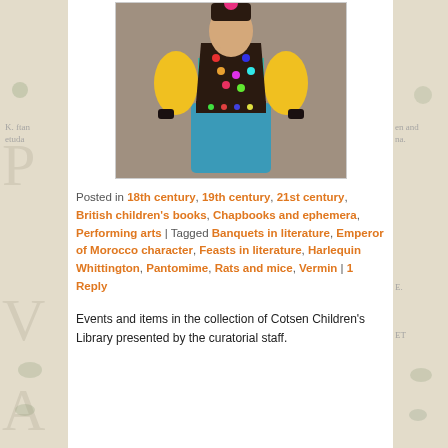[Figure (photo): Person in pantomime costume with yellow satin billowing sleeves, multicolored sequined vest, teal/turquoise top and blue satin harem pants, standing on stage]
Posted in 18th century, 19th century, 21st century, British children's books, Chapbooks and ephemera, Performing arts | Tagged Banquets in literature, Emperor of Morocco character, Feasts in literature, Harlequin Whittington, Pantomime, Rats and mice, Vermin | 1 Reply
Events and items in the collection of Cotsen Children's Library presented by the curatorial staff.